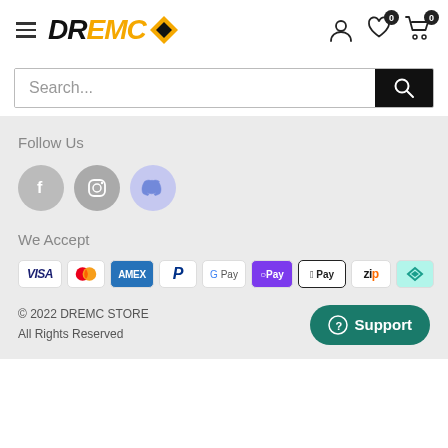[Figure (logo): DREMC store logo with orange diamond icon]
[Figure (screenshot): Search bar with text 'Search...' and black search button]
Follow Us
[Figure (illustration): Social media icons: Facebook (grey), Instagram (grey), Discord (light purple)]
We Accept
[Figure (illustration): Payment method icons: VISA, Mastercard, AMEX, PayPal, Google Pay, OPay, Apple Pay, Zip, AfterPay]
© 2022 DREMC STORE
All Rights Reserved
[Figure (illustration): Support button (teal rounded rectangle with question mark icon)]